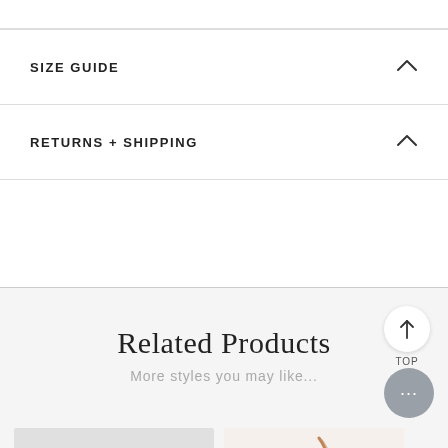SIZE GUIDE
RETURNS + SHIPPING
Related Products
More styles you may like...
[Figure (other): Two product thumbnail images at the bottom of the page, one gray placeholder and one showing a partial product image on beige background]